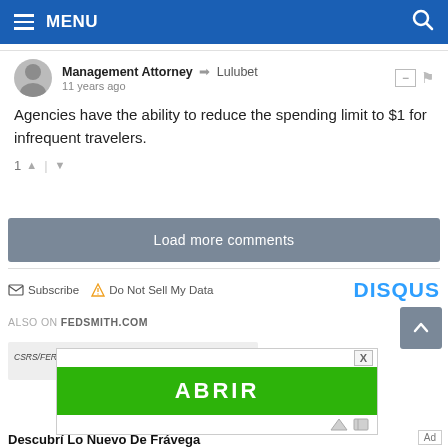MENU
Management Attorney → Lulubet
11 years ago
Agencies have the ability to reduce the spending limit to $1 for infrequent travelers.
1 ▲ | ▼
Load more comments
Subscribe  Do Not Sell My Data  DISQUS
ALSO ON FEDSMITH.COM
CSRS/FERS New Claims Processing Time
[Figure (screenshot): Green ABRIR button advertisement overlay with close X button and ad icons]
Descubrí Lo Nuevo De Frávega
Ad